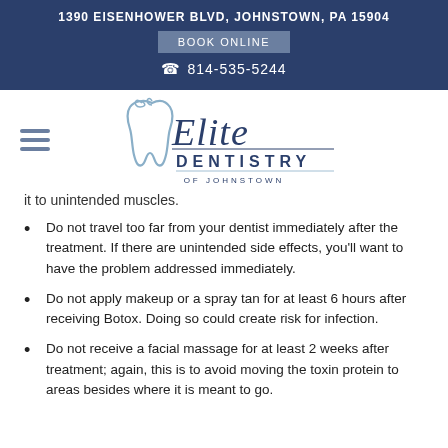1390 EISENHOWER BLVD, JOHNSTOWN, PA 15904
BOOK ONLINE
814-535-5244
[Figure (logo): Elite Dentistry of Johnstown logo with tooth graphic and decorative script text]
it to unintended muscles.
Do not travel too far from your dentist immediately after the treatment. If there are unintended side effects, you'll want to have the problem addressed immediately.
Do not apply makeup or a spray tan for at least 6 hours after receiving Botox. Doing so could create risk for infection.
Do not receive a facial massage for at least 2 weeks after treatment; again, this is to avoid moving the toxin protein to areas besides where it is meant to go.